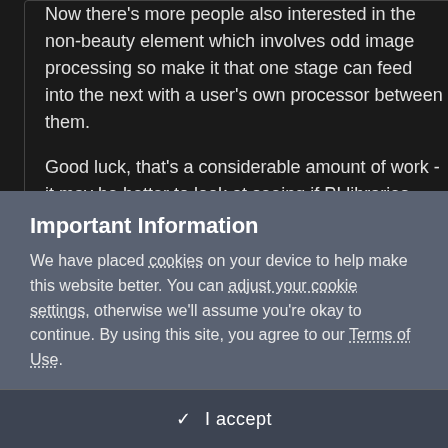Now there's more people also interested in the non-beauty element which involves odd image processing so make it that one stage can feed into the next with a user's own processor between them.
Good luck, that's a considerable amount of work - it may be better to look at seeing if PI libraries could be used for open source..
[Figure (screenshot): Partially visible forum post with avatar and username in green, on dark background]
Important Information
We have placed cookies on your device to help make this website better. You can adjust your cookie settings, otherwise we'll assume you're okay to continue. By using this site, you agree to our Terms of Use.
✓  I accept